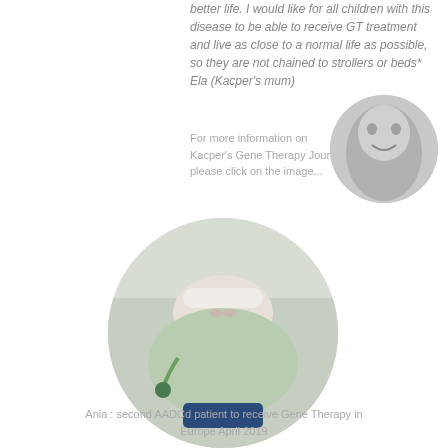better life. I would like for all children with this disease to be able to receive GT treatment and live as close to a normal life as possible, so they are not chained to strollers or beds* Ela (Kacper's mum)
For more information on Kacper's Gene Therapy Journey please click on the image...
[Figure (photo): Black and white circular photo of a smiling young boy (Kacper)]
[Figure (photo): Circular color photo of a young child (Ania) lying in a hospital bed with medical equipment, wearing a head bandage]
Ania : second AADCd patient to receive Gene Therapy in Europe April 2019